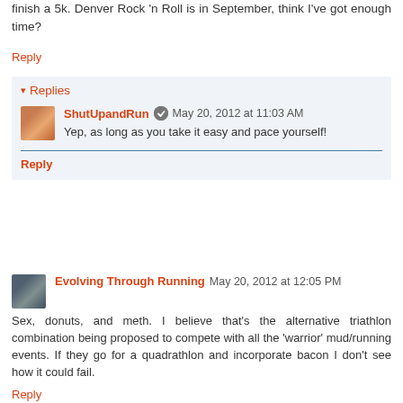finish a 5k. Denver Rock 'n Roll is in September, think I've got enough time?
Reply
Replies
ShutUpandRun  May 20, 2012 at 11:03 AM
Yep, as long as you take it easy and pace yourself!
Reply
Evolving Through Running  May 20, 2012 at 12:05 PM
Sex, donuts, and meth. I believe that's the alternative triathlon combination being proposed to compete with all the 'warrior' mud/running events. If they go for a quadrathlon and incorporate bacon I don't see how it could fail.
Reply